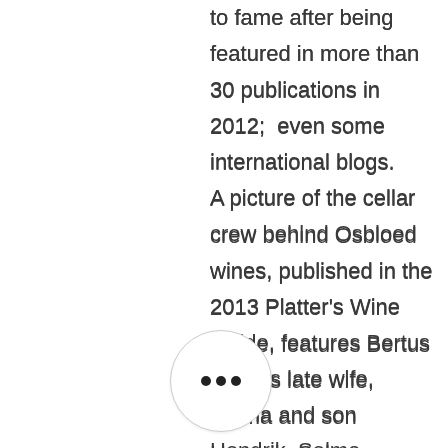to fame after being featured in more than 30 publications in 2012;  even some international blogs. A picture of the cellar crew behind Osbloed wines, published in the 2013 Platter's Wine Guide, features Bertus and his late wife, Selma and son Hendrik. Selma Albasini was a well-known artist whose work is featured on many of the Osbloed labels.

Bertus is a natural storyteller and brings this talent to wine tasting events that feature both the wines and the stories behind them, making